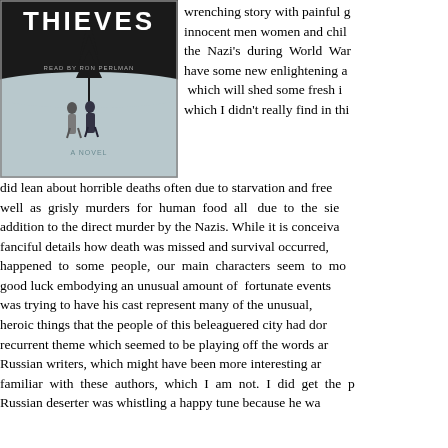[Figure (illustration): Book cover image showing 'THIEVES' in large white text on dark background, with two figures walking in a snowy winter landscape, subtitle 'READ BY RON PERLMAN', and 'A NOVEL' at bottom]
wrenching story with painful glimpses of innocent men women and children killed by the Nazi's during World War II. I did have some new enlightening aspects, which will shed some fresh insights, which I didn't really find in this book. I did lean about horrible deaths often due to starvation and freezing, as well as grisly murders for human food all due to the siege, in addition to the direct murder by the Nazis. While it is conceivable with fanciful details how death was missed and survival occurred, as it happened to some people, our main characters seem to monopolize good luck embodying an unusual amount of fortunate events. The author was trying to have his cast represent many of the unusual, brave and heroic things that the people of this beleaguered city had done. There's a recurrent theme which seemed to be playing off the words and ideas of Russian writers, which might have been more interesting and richer if familiar with these authors, which I am not. I did get the point. A Russian deserter was whistling a happy tune because he wa